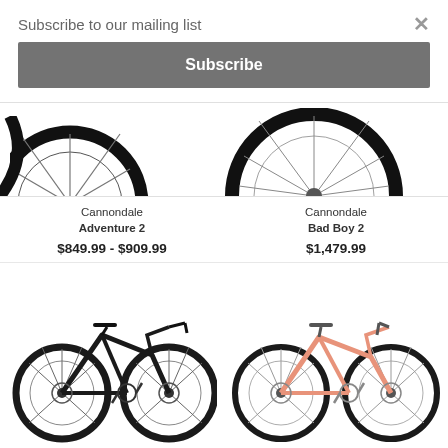Subscribe to our mailing list
×
Subscribe
[Figure (photo): Partial view of two bicycle wheels/tires from Cannondale bikes, cropped at top]
Cannondale Adventure 2
$849.99 - $909.99
Cannondale Bad Boy 2
$1,479.99
[Figure (photo): Dark/black Cannondale hybrid bicycle facing right]
[Figure (photo): Salmon/pink Cannondale hybrid bicycle facing left]